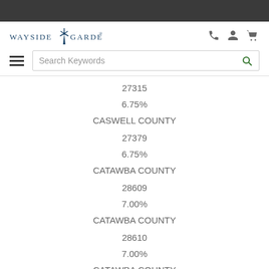[Figure (logo): Wayside Gardens logo with windmill icon]
Search Keywords
27315
6.75%
CASWELL COUNTY
27379
6.75%
CATAWBA COUNTY
28609
7.00%
CATAWBA COUNTY
28610
7.00%
CATAWBA COUNTY
28650
7.00%
CATAWBA COUNTY
CATAWBA COUNTY